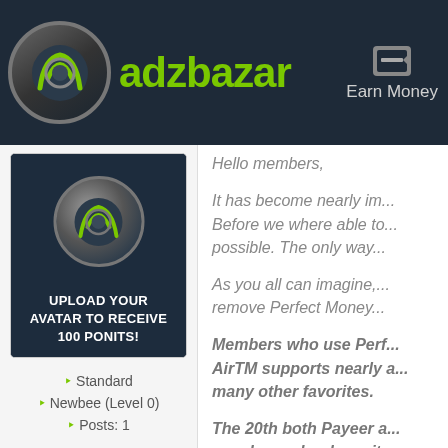adzbazar — Earn Money
[Figure (screenshot): adzbazar logo with green A icon in circle and green text, navigation bar with Earn Money link]
[Figure (illustration): Avatar placeholder box with circular logo and text: Upload Your Avatar to Receive 100 Ponits!]
Standard
Newbee (Level 0)
Posts: 1
Hello members,
It has become nearly im... Before we where able to... possible. The only way...
As you all can imagine,... remove Perfect Money...
Members who use Perf... AirTM supports nearly a... many other favorites.
The 20th both Payeer a... members who deposite... AirTM offers memb...